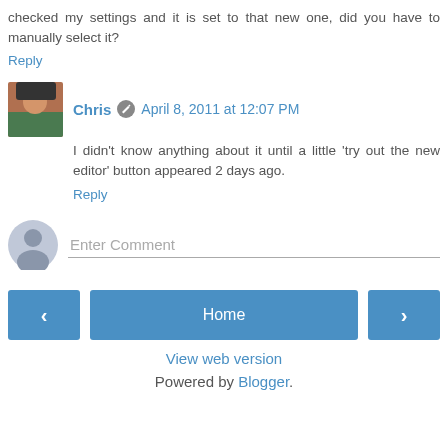checked my settings and it is set to that new one, did you have to manually select it?
Reply
Chris  April 8, 2011 at 12:07 PM
I didn't know anything about it until a little 'try out the new editor' button appeared 2 days ago.
Reply
Enter Comment
Home
View web version
Powered by Blogger.